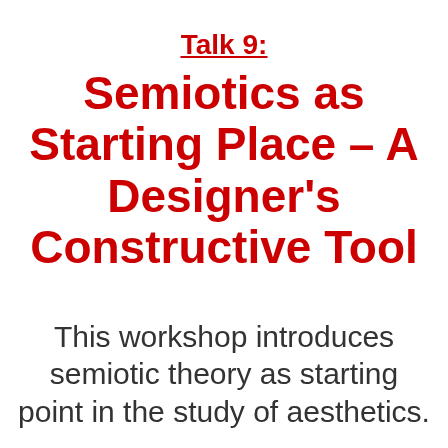Talk 9:
Semiotics as Starting Place – A Designer's Constructive Tool
This workshop introduces semiotic theory as starting point in the study of aesthetics.